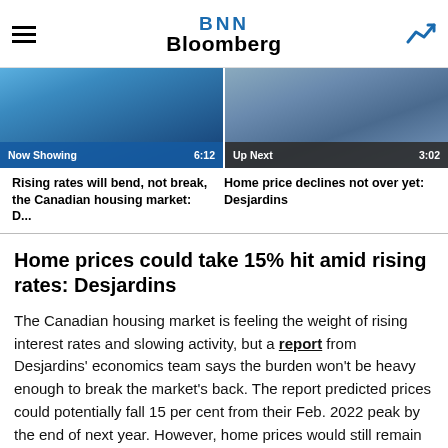BNN Bloomberg
[Figure (screenshot): Two video thumbnails: left shows 'Now Showing' bar with time 6:12; right shows 'Up Next' bar with time 3:02. Both show housing-related content.]
Rising rates will bend, not break, the Canadian housing market: D...
Home price declines not over yet: Desjardins
Home prices could take 15% hit amid rising rates: Desjardins
The Canadian housing market is feeling the weight of rising interest rates and slowing activity, but a report from Desjardins' economics team says the burden won't be heavy enough to break the market's back. The report predicted prices could potentially fall 15 per cent from their Feb. 2022 peak by the end of next year. However, home prices would still remain above pre-pandemic levels.